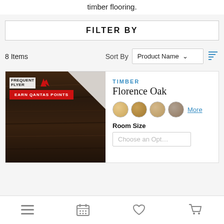timber flooring.
FILTER BY
8 Items   Sort By   Product Name
[Figure (screenshot): Product card for Florence Oak timber flooring with Qantas Frequent Flyer badge and Earn Qantas Points banner. Shows dark wood texture image, color swatches, and room size selector.]
Navigation bar with menu, calendar, heart, and cart icons